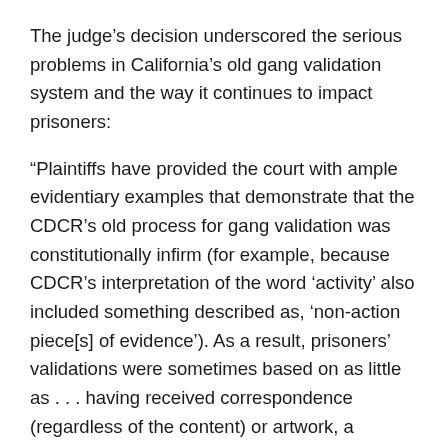The judge’s decision underscored the serious problems in California’s old gang validation system and the way it continues to impact prisoners:
“Plaintiffs have provided the court with ample evidentiary examples that demonstrate that the CDCR’s old process for gang validation was constitutionally infirm (for example, because CDCR’s interpretation of the word ‘activity’ also included something described as, ‘non-action piece[s] of evidence’). As a result, prisoners’ validations were sometimes based on as little as . . . having received correspondence (regardless of the content) or artwork, a birthday card, or other possessions from a validated gang member . . .  or for the artwork they possessed (such as art containing Aztec or Mayan images). . .  Plaintiffs also provide evidence from a number of class members’ parole transcripts in support of the contention that gang validation